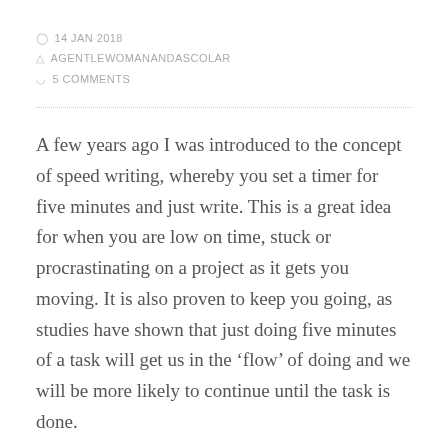14 JAN 2018
AGENTLEWOMANANDASCHOLAR
5 COMMENTS
A few years ago I was introduced to the concept of speed writing, whereby you set a timer for five minutes and just write. This is a great idea for when you are low on time, stuck or procrastinating on a project as it gets you moving. It is also proven to keep you going, as studies have shown that just doing five minutes of a task will get us in the 'flow' of doing and we will be more likely to continue until the task is done.
Back when I heard about this five-minute method I also heard about an application that